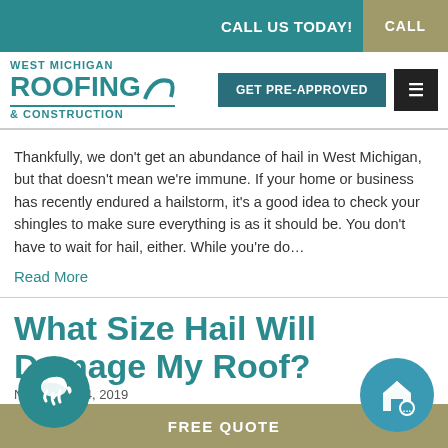CALL US TODAY! | CALL
[Figure (logo): West Michigan Roofing & Construction logo with teal text and curl graphic]
Thankfully, we don't get an abundance of hail in West Michigan, but that doesn't mean we're immune. If your home or business has recently endured a hailstorm, it's a good idea to check your shingles to make sure everything is as it should be. You don't have to wait for hail, either. While you're do…
Read More
What Size Hail Will Damage My Roof?
November 14, 2019
FREE QUOTE